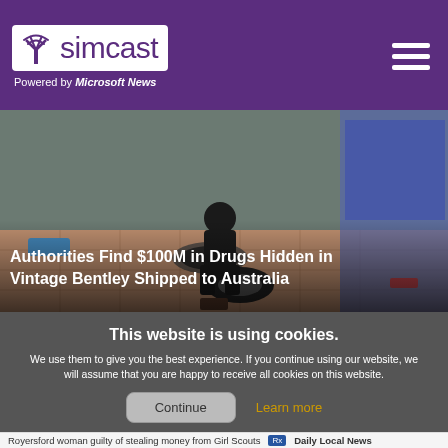simcast — Powered by Microsoft News
[Figure (photo): Two people working on a tire near a manhole on a brick/tile floor, with tools and items scattered around. News article hero image.]
Authorities Find $100M in Drugs Hidden in Vintage Bentley Shipped to Australia
This website is using cookies.
We use them to give you the best experience. If you continue using our website, we will assume that you are happy to receive all cookies on this website.
Continue   Learn more
Royersford woman guilty of stealing money from Girl Scouts
Daily Local News